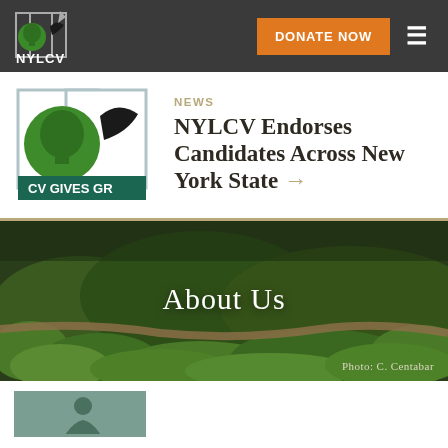NYLCV | DONATE NOW
NEWS
NYLCV Endorses Candidates Across New York State →
[Figure (logo): NYLCV logo with tree and bird icon, overlapping squares, text 'CV GIVES GR' visible]
[Figure (photo): Lush green forest/nature scene with wooden fence/bridge, banner reading 'About Us', photo credit: C. Centabar]
Photo: C. Centabar
[Figure (photo): Person photo in a sage/teal colored frame, partially visible at bottom of page]